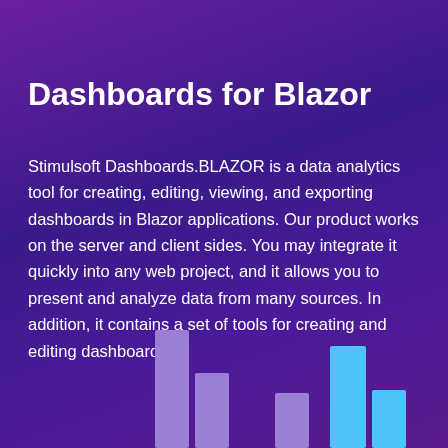Dashboards for Blazor
Stimulsoft Dashboards.BLAZOR is a data analytics tool for creating, editing, viewing, and exporting dashboards in Blazor applications. Our product works on the server and client sides. You may integrate it quickly into any web project, and it allows you to present and analyze data from many sources. In addition, it contains a set of tools for creating and editing dashboards.
[Figure (bar-chart): Decorative bar chart partially visible at bottom of page, with purple and blue bars of varying heights]